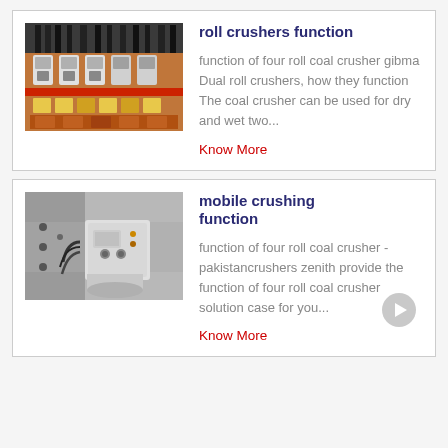roll crushers function
[Figure (photo): Photo of industrial electrical control panel with orange wiring and circuit breakers]
function of four roll coal crusher gibma Dual roll crushers, how they function The coal crusher can be used for dry and wet two...
Know More
mobile crushing function
[Figure (photo): Photo of industrial mobile crushing machine/motor unit in a concrete room]
function of four roll coal crusher - pakistancrushers zenith provide the function of four roll coal crusher solution case for you...
Know More